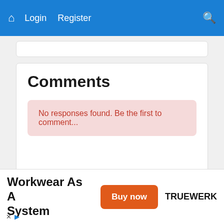Home  Login  Register  [Search]
Comments
No responses found. Be the first to comment...
Post a comment...
Workwear As A System
Buy now
TRUEWERK